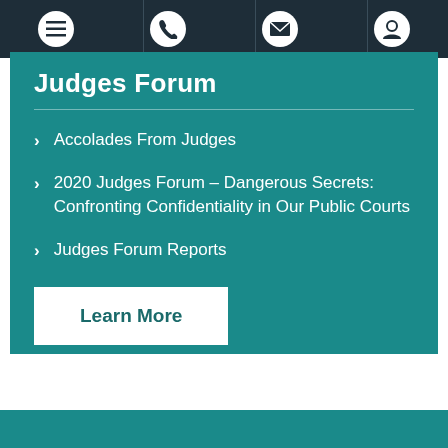Navigation bar with menu, phone, email, and account icons
Judges Forum
Accolades From Judges
2020 Judges Forum – Dangerous Secrets: Confronting Confidentiality in Our Public Courts
Judges Forum Reports
Learn More